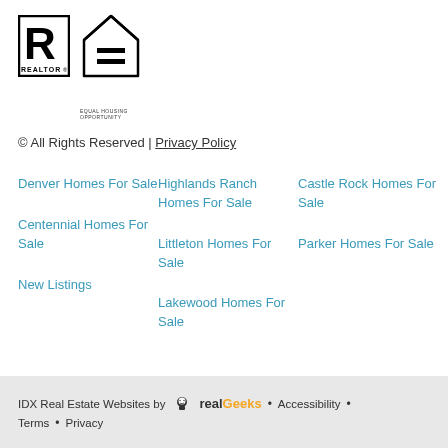[Figure (logo): Realtor logo and Equal Housing Opportunity logo side by side]
© All Rights Reserved | Privacy Policy
Denver Homes For Sale
Centennial Homes For Sale
New Listings
Highlands Ranch Homes For Sale
Littleton Homes For Sale
Lakewood Homes For Sale
Castle Rock Homes For Sale
Parker Homes For Sale
IDX Real Estate Websites by RealGeeks • Accessibility • Terms • Privacy